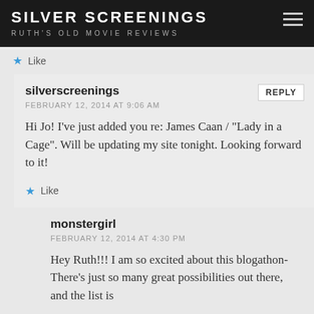SILVER SCREENINGS
RUTH'S OLD MOVIE REVIEWS
Like
silverscreenings
FEBRUARY 12, 2014 AT 9:06 AM
Hi Jo! I've just added you re: James Caan / "Lady in a Cage". Will be updating my site tonight. Looking forward to it!
Like
monstergirl
FEBRUARY 12, 2014 AT 4:30 PM
Hey Ruth!!! I am so excited about this blogathon- There's just so many great possibilities out there, and the list is